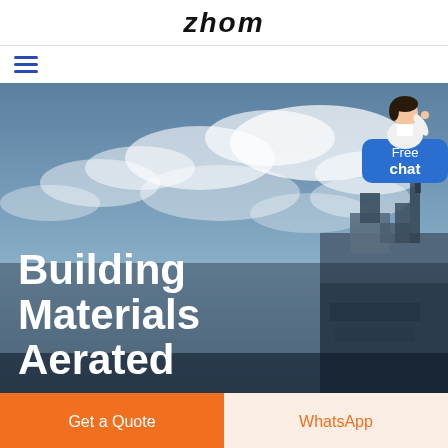zhom
[Figure (logo): Hamburger menu icon with three horizontal blue lines]
[Figure (photo): Hero banner photo of a construction site/ship with a blue cloudy sky background. Large white bold text reads 'Building Materials Aerated'. A chat widget in the top right corner shows a female avatar and a blue bubble with 'Free chat'.]
Get a Quote
WhatsApp